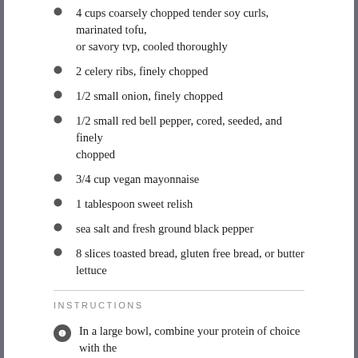4 cups coarsely chopped tender soy curls, marinated tofu, or savory tvp, cooled thoroughly
2 celery ribs, finely chopped
1/2 small onion, finely chopped
1/2 small red bell pepper, cored, seeded, and finely chopped
3/4 cup vegan mayonnaise
1 tablespoon sweet relish
sea salt and fresh ground black pepper
8 slices toasted bread, gluten free bread, or butter lettuce
INSTRUCTIONS
In a large bowl, combine your protein of choice with the celery, onion, bell pepper, mayonnaise, relish, and salt, and pepper to taste. Set aside for 10 minutes to blend the